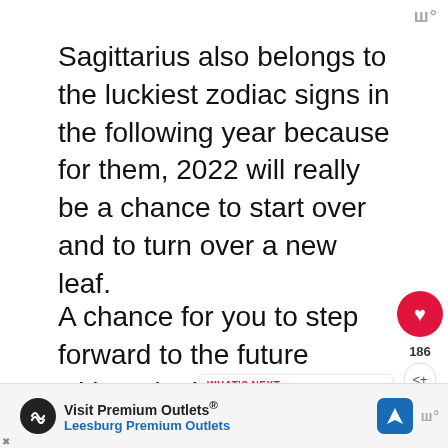ш°
Sagittarius also belongs to the luckiest zodiac signs in the following year because for them, 2022 will really be a chance to start over and to turn over a new leaf.
A chance for you to step forward to the future without looking back to the past
For you, this year is reserved fo positive changes and all you have to do
[Figure (screenshot): Red heart/like button with count 186 and share button overlay]
[Figure (infographic): What's Next panel showing '6 Ways To Make Him F...' with thumbnail image]
[Figure (infographic): Advertisement banner: Visit Premium Outlets, Leesburg Premium Outlets with navigation icons]